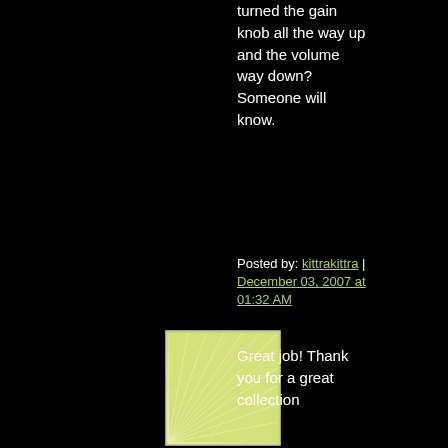turned the gain knob all the way up and the volume way down? Someone will know.
Posted by: kittrakittra | December 03, 2007 at 01:32 AM
[Figure (illustration): Small square avatar image with a yellow-green geometric pattern of radiating lines on a light background]
Great job! Thank you for a great collection